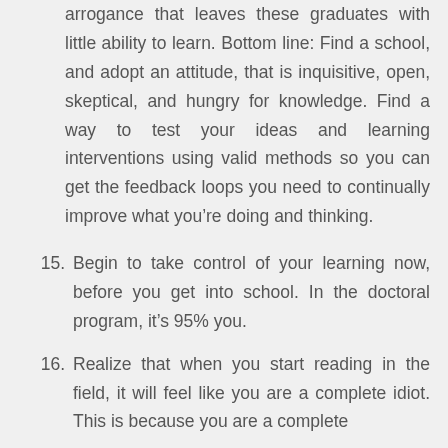arrogance that leaves these graduates with little ability to learn. Bottom line: Find a school, and adopt an attitude, that is inquisitive, open, skeptical, and hungry for knowledge. Find a way to test your ideas and learning interventions using valid methods so you can get the feedback loops you need to continually improve what you’re doing and thinking.
15. Begin to take control of your learning now, before you get into school. In the doctoral program, it’s 95% you.
16. Realize that when you start reading in the field, it will feel like you are a complete idiot. This is because you are a complete